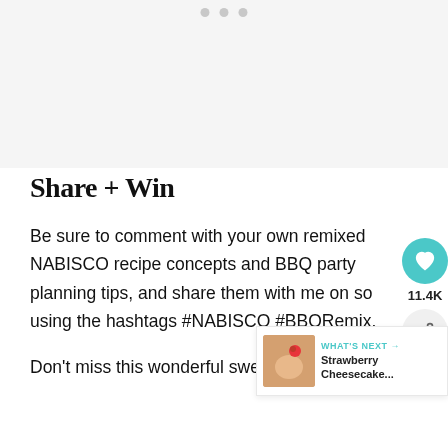[Figure (photo): Top image area with carousel dots, light gray placeholder image region]
Share + Win
Be sure to comment with your own remixed NABISCO recipe concepts and BBQ party planning tips, and share them with me on so using the hashtags #NABISCO #BBQRemix.
Don't miss this wonderful sweepstakes from